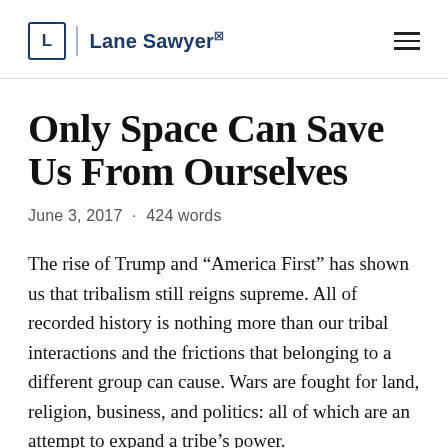L | Lane Sawyer
Only Space Can Save Us From Ourselves
June 3, 2017 · 424 words
The rise of Trump and “America First” has shown us that tribalism still reigns supreme. All of recorded history is nothing more than our tribal interactions and the frictions that belonging to a different group can cause. Wars are fought for land, religion, business, and politics: all of which are an attempt to expand a tribe’s power.